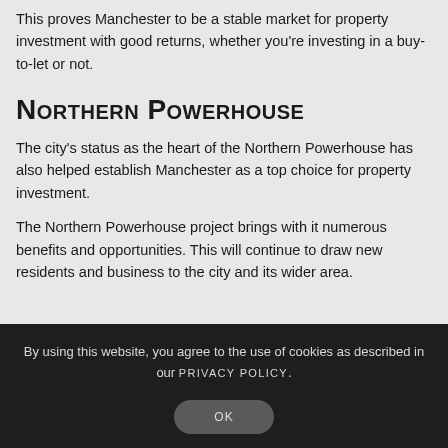This proves Manchester to be a stable market for property investment with good returns, whether you're investing in a buy-to-let or not.
Northern Powerhouse
The city's status as the heart of the Northern Powerhouse has also helped establish Manchester as a top choice for property investment.
The Northern Powerhouse project brings with it numerous benefits and opportunities. This will continue to draw new residents and business to the city and its wider area.
By using this website, you agree to the use of cookies as described in our PRIVACY POLICY.
OK